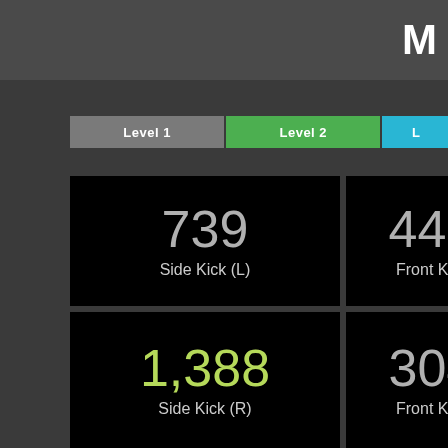M
Level 1 | Level 2 | Level
739
Side Kick (L)
445
Front Kick
1,388
Side Kick (R)
304
Front Kick